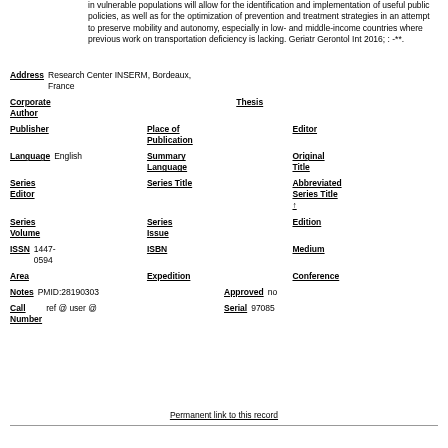in vulnerable populations will allow for the identification and implementation of useful public policies, as well as for the optimization of prevention and treatment strategies in an attempt to preserve mobility and autonomy, especially in low- and middle-income countries where previous work on transportation deficiency is lacking. Geriatr Gerontol Int 2016; : -**.
| Address | Research Center INSERM, Bordeaux, France |  |  |
| Corporate Author |  | Thesis |  |
| Publisher |  | Place of Publication |  | Editor |  |
| Language | English | Summary Language |  | Original Title |  |
| Series Editor |  | Series Title |  | Abbreviated Series Title ↑ |  |
| Series Volume |  | Series Issue |  | Edition |  |
| ISSN | 1447-0594 | ISBN |  | Medium |  |
| Area |  | Expedition |  | Conference |  |
| Notes | PMID:28190303 | Approved | no |  |  |
| Call Number | ref @ user @ | Serial | 97085 |  |  |
Permanent link to this record